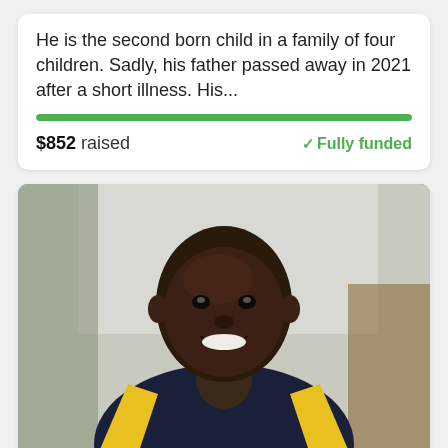He is the second born child in a family of four children. Sadly, his father passed away in 2021 after a short illness. His...
$852 raised   ✓Fully funded
[Figure (photo): Portrait photo of a smiling young person with a shaved head wearing a dark jacket with yellow trim, seated indoors]
Margaret is a humble and quiet 13-year-